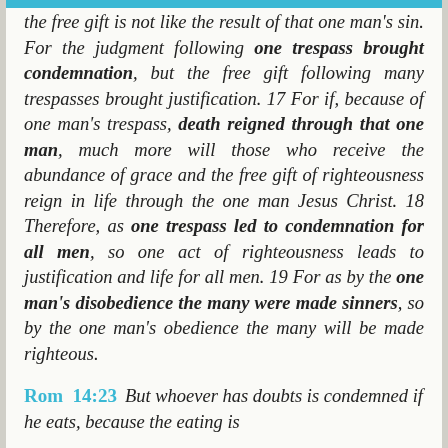the free gift is not like the result of that one man's sin. For the judgment following one trespass brought condemnation, but the free gift following many trespasses brought justification. 17 For if, because of one man's trespass, death reigned through that one man, much more will those who receive the abundance of grace and the free gift of righteousness reign in life through the one man Jesus Christ. 18 Therefore, as one trespass led to condemnation for all men, so one act of righteousness leads to justification and life for all men. 19 For as by the one man's disobedience the many were made sinners, so by the one man's obedience the many will be made righteous.
Rom 14:23 But whoever has doubts is condemned if he eats, because the eating is